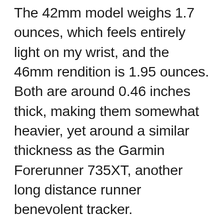The 42mm model weighs 1.7 ounces, which feels entirely light on my wrist, and the 46mm rendition is 1.95 ounces. Both are around 0.46 inches thick, making them somewhat heavier, yet around a similar thickness as the Garmin Forerunner 735XT, another long distance runner benevolent tracker. With respect to sensors, the Apex has an accelerometer, a compass, a gyrator, a constant optical pulse screen, a barometric altimeter for rise readings, and a compass. For route, it has GPS and GLONASS satellite associations. There's additionally a